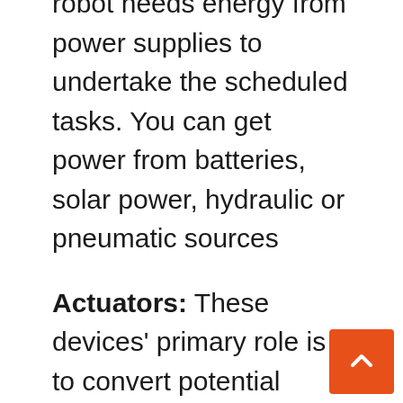robot needs energy from power supplies to undertake the scheduled tasks. You can get power from batteries, solar power, hydraulic or pneumatic sources
Actuators: These devices' primary role is to convert potential energy to kinetic energy. In other words, converting stagnant energy into moving energy.
Electric motors: Generally, motors convert electrical energy to mechanical energy. As a result, robots or autonomous machines use motors to deliver different movements to various parts. Since the machines perform various functions, you use brushless DC motors in portability, while the AC motors are excellent for